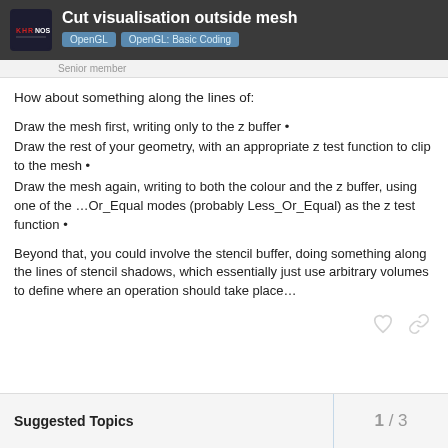Cut visualisation outside mesh
OpenGL  OpenGL: Basic Coding
Senior member
How about something along the lines of:
Draw the mesh first, writing only to the z buffer •
Draw the rest of your geometry, with an appropriate z test function to clip to the mesh •
Draw the mesh again, writing to both the colour and the z buffer, using one of the …Or_Equal modes (probably Less_Or_Equal) as the z test function •
Beyond that, you could involve the stencil buffer, doing something along the lines of stencil shadows, which essentially just use arbitrary volumes to define where an operation should take place…
1 / 3
Suggested Topics